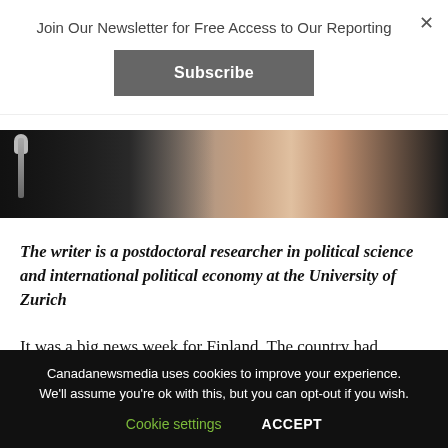Join Our Newsletter for Free Access to Our Reporting
Subscribe
[Figure (photo): Dark photograph showing a microphone and a person in the background, partially visible]
The writer is a postdoctoral researcher in political science and international political economy at the University of Zurich
It was a big news week for Finland. The country had
Canadanewsmedia uses cookies to improve your experience. We'll assume you're ok with this, but you can opt-out if you wish.
Cookie settings   ACCEPT